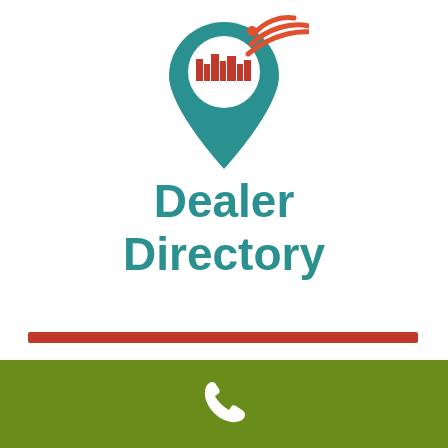[Figure (logo): Dealer directory logo: a map pin icon with a city skyline silhouette in teal and red/orange wifi signal arcs above it]
Dealer Directory
NEVADA
L&W Supply – N Las Vegas, NV
L&W Supply operates as the nation's largest distributor of world-class building materials.
[Figure (logo): Phone handset icon on olive green footer bar]